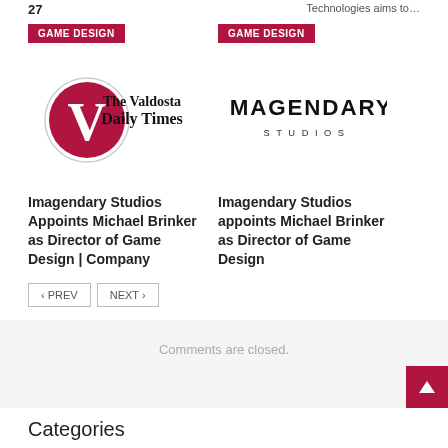27
Technologies aims to…
GAME DESIGN
[Figure (logo): The Valdosta Daily Times logo with red circle V emblem]
GAME DESIGN
[Figure (logo): Imagendary Studios logo in black text with spaced letters]
Imagendary Studios Appoints Michael Brinker as Director of Game Design | Company
Imagendary Studios appoints Michael Brinker as Director of Game Design
‹ PREV
NEXT ›
Comments are closed.
Categories